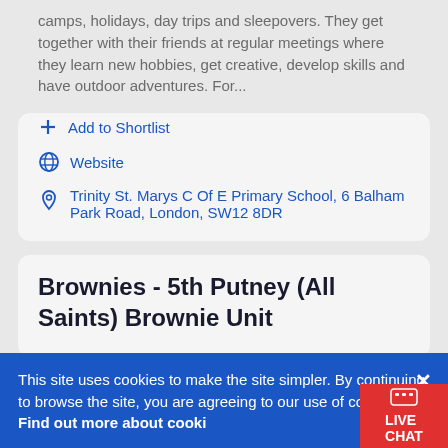camps, holidays, day trips and sleepovers. They get together with their friends at regular meetings where they learn new hobbies, get creative, develop skills and have outdoor adventures. For...
+ Add to Shortlist
Website
Trinity St. Marys C Of E Primary School, 6 Balham Park Road, London, SW12 8DR
Brownies - 5th Putney (All Saints) Brownie Unit
This site uses cookies to make the site simpler. By continuing to browse the site, you are agreeing to our use of cookies. Find out more about cookies